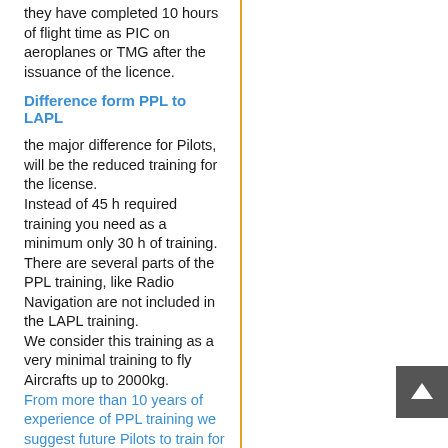they have completed 10 hours of flight time as PIC on aeroplanes or TMG after the issuance of the licence.
Difference form PPL to LAPL
the major difference for Pilots, will be the reduced training for the license.
Instead of 45 h required training you need as a minimum only 30 h of training. There are several parts of the PPL training, like Radio Navigation are not included in the LAPL training.
We consider this training as a very minimal training to fly Aircrafts up to 2000kg.
From more than 10 years of experience of PPL training we suggest future Pilots to train for the PPL, to get popper skills, because -